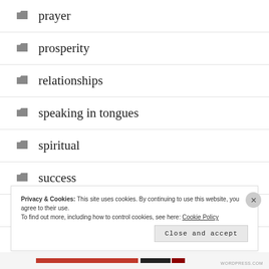prayer
prosperity
relationships
speaking in tongues
spiritual
success
Thought
Privacy & Cookies: This site uses cookies. By continuing to use this website, you agree to their use. To find out more, including how to control cookies, see here: Cookie Policy
Close and accept